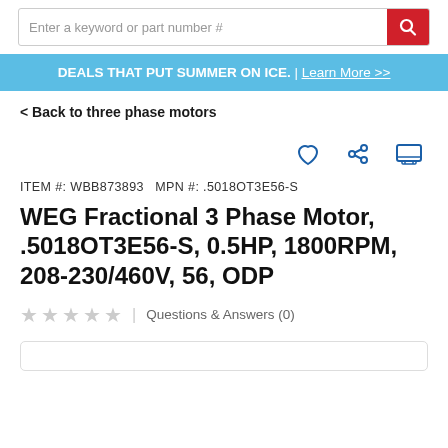Enter a keyword or part number #
DEALS THAT PUT SUMMER ON ICE. | Learn More >>
< Back to three phase motors
ITEM #: WBB873893  MPN #: .5018OT3E56-S
WEG Fractional 3 Phase Motor, .5018OT3E56-S, 0.5HP, 1800RPM, 208-230/460V, 56, ODP
★★★★★ | Questions & Answers (0)